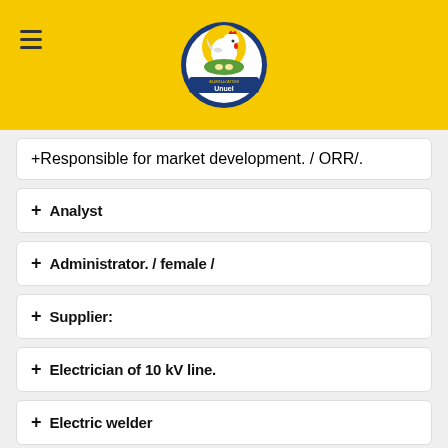Logo header with chicken brand
+ Responsible for market development. / ORR/.
+ Analyst
+ Administrator. / female /
+ Supplier:
+ Electrician of 10 kV line.
+ Electric welder
+ Turner
+ Working operators to work at the meat plant